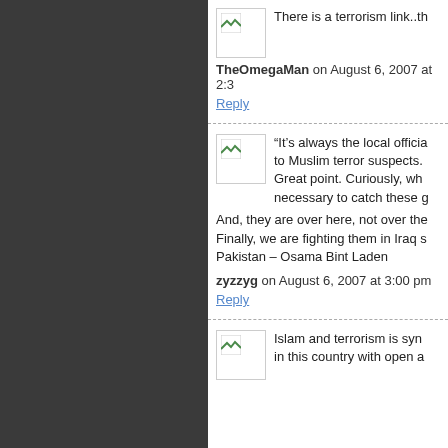There is a terrorism link..th
TheOmegaMan on August 6, 2007 at 2:3
Reply
“It’s always the local officia to Muslim terror suspects. Great point. Curiously, wh necessary to catch these g And, they are over here, not over the Finally, we are fighting them in Iraq s Pakistan – Osama Bint Laden
zyzzyg on August 6, 2007 at 3:00 pm
Reply
Islam and terrorism is syn in this country with open a